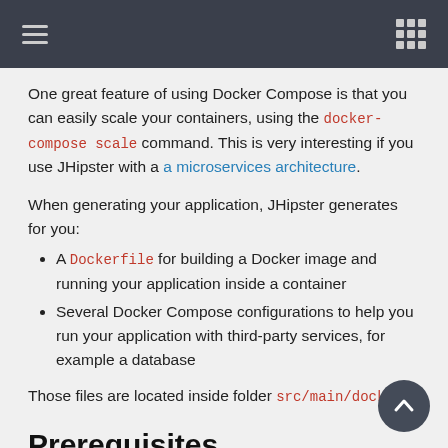One great feature of using Docker Compose is that you can easily scale your containers, using the docker-compose scale command. This is very interesting if you use JHipster with a microservices architecture.
When generating your application, JHipster generates for you:
A Dockerfile for building a Docker image and running your application inside a container
Several Docker Compose configurations to help you run your application with third-party services, for example a database
Those files are located inside folder src/main/docker/.
Prerequisites